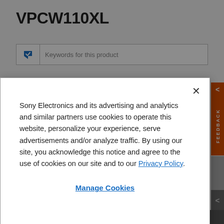VPCW110XL
[Figure (screenshot): Search box with filter icon and placeholder text 'Keywords for this product']
[Figure (screenshot): Cookie consent modal dialog with close button (×), body text about Sony Electronics cookies and privacy policy link, and Manage Cookies link]
Sony Electronics and its advertising and analytics and similar partners use cookies to operate this website, personalize your experience, serve advertisements and/or analyze traffic. By using our site, you acknowledge this notice and agree to the use of cookies on our site and to our Privacy Policy.
Manage Cookies